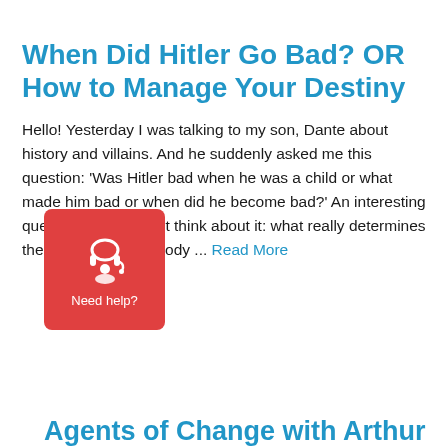When Did Hitler Go Bad? OR How to Manage Your Destiny
Hello! Yesterday I was talking to my son, Dante about history and villains. And he suddenly asked me this question: ‘Was Hitler bad when he was a child or what made him bad or when did he become bad?’ An interesting question, isn’t it? Just think about it: what really determines the destiny of somebody ... Read More
[Figure (illustration): Red customer support widget showing a headset icon and the text 'Need help?']
Agents of Change with Arthur